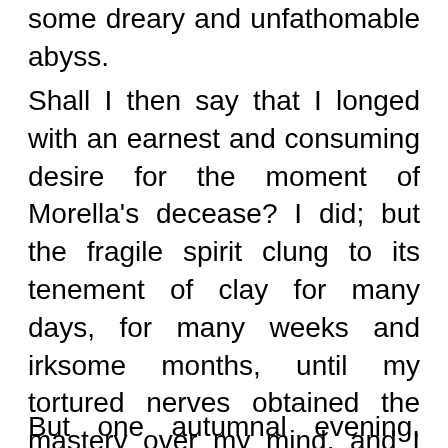some dreary and unfathomable abyss.
Shall I then say that I longed with an earnest and consuming desire for the moment of Morella's decease? I did; but the fragile spirit clung to its tenement of clay for many days, for many weeks and irksome months, until my tortured nerves obtained the mastery over my mind, and I grew furious through delay, and, with the heart of a fiend, cursed the days and the hours and the bitter moments, which seemed to lengthen and lengthen as her gentle life declined, like shadows in the dying of the day.
But one autumnal evening, when